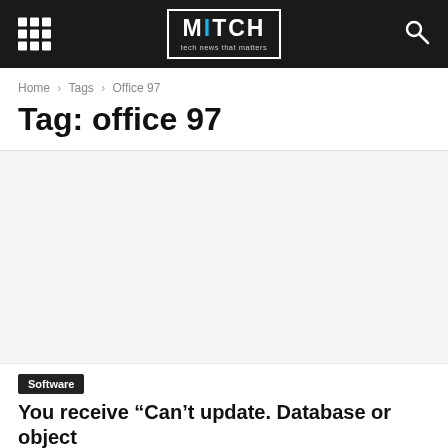MITCH - tech news that matters
Home > Tags > Office 97
Tag: office 97
[Figure (photo): Article thumbnail image placeholder]
Software
You receive “Can’t update. Database or object